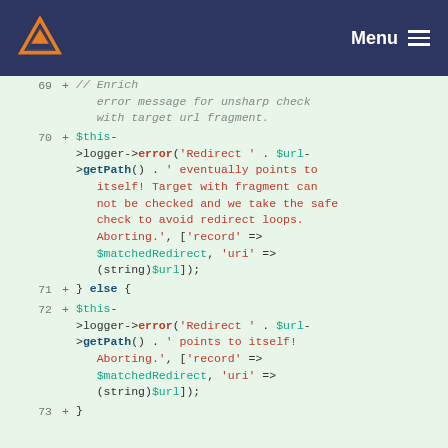Menu
[Figure (screenshot): Code diff view showing PHP code lines 69-73 with line numbers and + markers on a light green background. Code shows logger->error calls with redirect loop detection and string concatenation.]